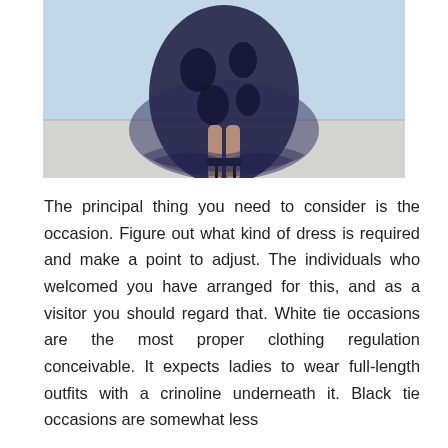[Figure (photo): A woman wearing a dark navy/black sheer floral overlay gown with black high-heeled ankle-strap sandals, photographed from approximately waist down against a light blue background.]
The principal thing you need to consider is the occasion. Figure out what kind of dress is required and make a point to adjust. The individuals who welcomed you have arranged for this, and as a visitor you should regard that. White tie occasions are the most proper clothing regulation conceivable. It expects ladies to wear full-length outfits with a crinoline underneath it. Black tie occasions are somewhat less